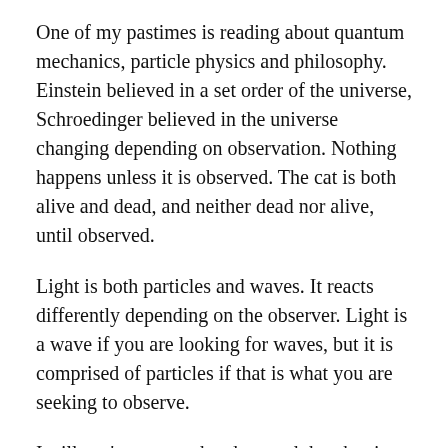One of my pastimes is reading about quantum mechanics, particle physics and philosophy. Einstein believed in a set order of the universe, Schroedinger believed in the universe changing depending on observation. Nothing happens unless it is observed. The cat is both alive and dead, and neither dead nor alive, until observed.
Light is both particles and waves. It reacts differently depending on the observer. Light is a wave if you are looking for waves, but it is comprised of particles if that is what you are seeking to observe.
I still can't wrap my head around that, but it has been proved experimentally.
One of my favorite books is out of print, “The Dancing WuLi Masters” by Gary Zukov. It explains quantum